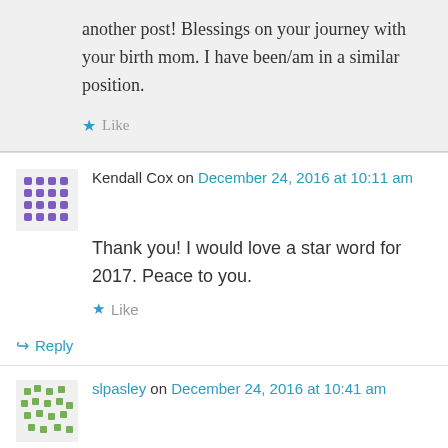another post! Blessings on your journey with your birth mom. I have been/am in a similar position.
Like
Kendall Cox on December 24, 2016 at 10:11 am
Thank you! I would love a star word for 2017. Peace to you.
Like
Reply
slpasley on December 24, 2016 at 10:41 am
Good Morning Marci! May I have a word for